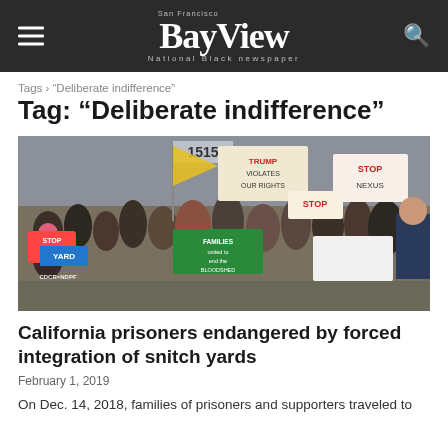San Francisco Bay View — National Black newspaper
Tags › "Deliberate indifference"
Tag: "Deliberate indifference"
[Figure (photo): Group of families and supporters standing outside a building numbered 1515, holding protest signs including 'STOP NEXUS', 'FAMILIES united to end the BLOODSHED', 'STOP YARD', 'CDCR=NDPF', and others related to prisoner rights.]
California prisoners endangered by forced integration of snitch yards
February 1, 2019
On Dec. 14, 2018, families of prisoners and supporters traveled to